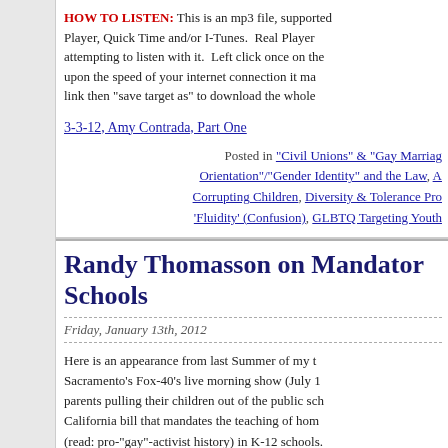HOW TO LISTEN: This is an mp3 file, supported by Windows Media Player, Quick Time and/or I-Tunes. Real Player may have difficulty attempting to listen with it. Left click once on the link to stream it (depending upon the speed of your internet connection it may take a moment to load), or right click link then "save target as" to download the whole file at once.
3-3-12, Amy Contrada, Part One
Posted in "Civil Unions" & "Gay Marriage", "Sexual Orientation"/"Gender Identity" and the Law, Corrupting Children, Diversity & Tolerance Propaganda, Gender 'Fluidity' (Confusion), GLBTQ Targeting Youth
Randy Thomasson on Mandatory ... Schools
Friday, January 13th, 2012
Here is an appearance from last Summer of my ... Sacramento's Fox-40's live morning show (July 1...) parents pulling their children out of the public sch... California bill that mandates the teaching of hom... (read: pro-"gay"-activist history) in K-12 schools. ... Randy's allusion to the law's prohibition on nega... the portion of the law that amends the Cal. Educ...
51501. The state board and any gove... or other instructional materials for u... matter reflecting adversely upon p...